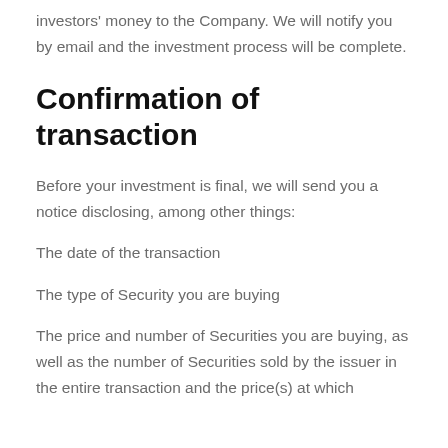investors' money to the Company. We will notify you by email and the investment process will be complete.
Confirmation of transaction
Before your investment is final, we will send you a notice disclosing, among other things:
The date of the transaction
The type of Security you are buying
The price and number of Securities you are buying, as well as the number of Securities sold by the issuer in the entire transaction and the price(s) at which